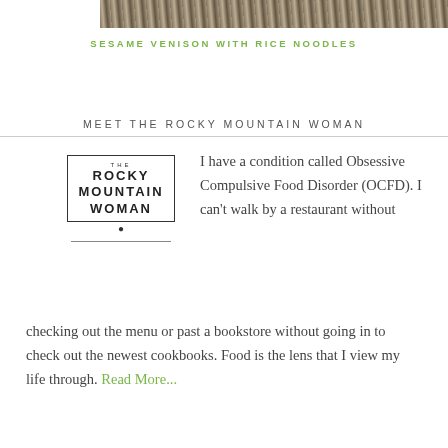[Figure (photo): Partial top edge of food photo showing sesame venison with rice noodles dish]
SESAME VENISON WITH RICE NOODLES
MEET THE ROCKY MOUNTAIN WOMAN
[Figure (logo): The Rocky Mountain Woman logo — text in a rectangular box border with a dot below and a horizontal rule]
I have a condition called Obsessive Compulsive Food Disorder (OCFD). I can't walk by a restaurant without checking out the menu or past a bookstore without going in to check out the newest cookbooks. Food is the lens that I view my life through. Read More...